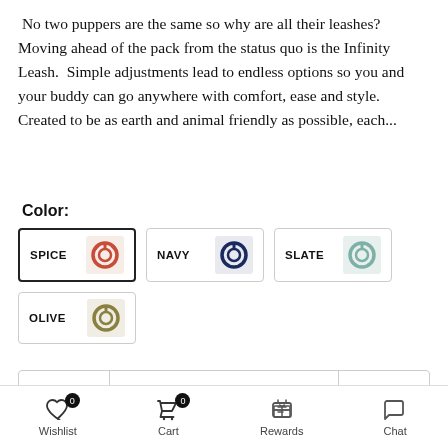No two puppers are the same so why are all their leashes?  Moving ahead of the pack from the status quo is the Infinity Leash.  Simple adjustments lead to endless options so you and your buddy can go anywhere with comfort, ease and style. Created to be as earth and animal friendly as possible, each...
Color:
SPICE (selected)
NAVY
SLATE
OLIVE
- 1 +
ADD TO CART
Wishlist 0  Cart 0  Rewards  Chat